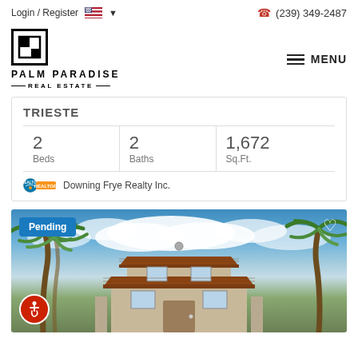Login / Register  (239) 349-2487
[Figure (logo): Palm Paradise Real Estate logo with P inside a square border and PALM PARADISE REAL ESTATE text]
MENU
|  |  |  |
| --- | --- | --- |
| 2 Beds | 2 Baths | 1,672 Sq.Ft. |
TRIESTE
Downing Frye Realty Inc.
[Figure (photo): Exterior photo of a two-story home with tile roof, palm trees, blue sky with clouds. Shows Pending badge in top-left, heart icon in top-right, and accessibility icon in bottom-left.]